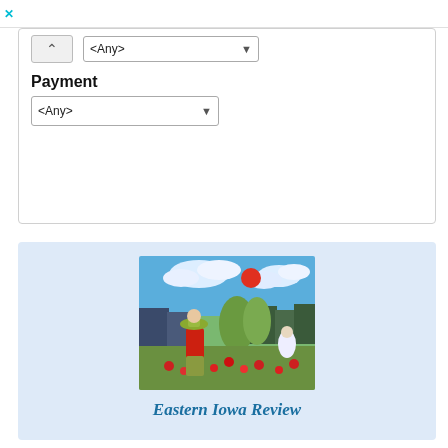[Figure (screenshot): UI filter panel with collapse button, a dropdown selector showing '<Any>', a Payment label, and a second '<Any>' dropdown selector. Below is a light blue card section with a painting illustration showing a woman in a red top and green hat standing in a flower garden with buildings and a red sun in the background.]
Eastern Iowa Review